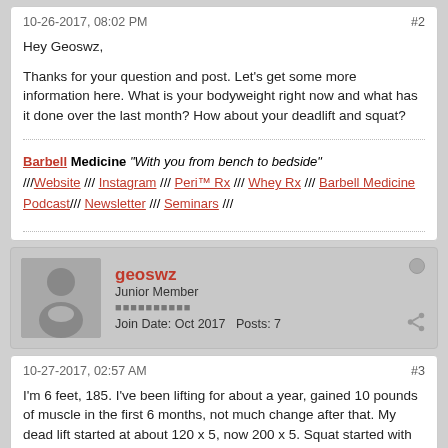10-26-2017, 08:02 PM   #2
Hey Geoswz,
Thanks for your question and post. Let's get some more information here. What is your bodyweight right now and what has it done over the last month? How about your deadlift and squat?
Barbell Medicine "With you from bench to bedside" ///Website /// Instagram /// Peri™ Rx /// Whey Rx /// Barbell Medicine Podcast/// Newsletter /// Seminars ///
geoswz  Junior Member  Join Date: Oct 2017  Posts: 7
10-27-2017, 02:57 AM   #3
I'm 6 feet, 185. I've been lifting for about a year, gained 10 pounds of muscle in the first 6 months, not much change after that. My dead lift started at about 120 x 5, now 200 x 5. Squat started with goblet squats with a dumb bell, 50 x 5, now HBS with 150 x 5. (That's not much weight compared to the big boys and girls, but I prefer to spin it as having a huge PIP--Potential to Improve